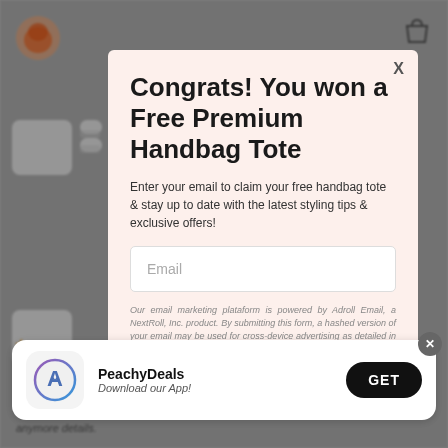[Figure (screenshot): Background of a shopping website (PeachyDeals) with logo top-left, bag icon top-right, and card items partially visible, shown blurred behind a modal overlay.]
Congrats! You won a Free Premium Handbag Tote
Enter your email to claim your free handbag tote & stay up to date with the latest styling tips & exclusive offers!
Email
Our email marketing plataform is powered by Adroll Email, a NextRoll, Inc. product. By submitting this form, a hashed version of your email may be used for cross-device advertising as detailed in NextRolls Privacy Notice.
[Figure (screenshot): App download banner at bottom of page with PeachyDeals app icon (blue/purple App Store icon), text 'PeachyDeals - Download our App!' and a black GET button. An X close button is at top-right of banner.]